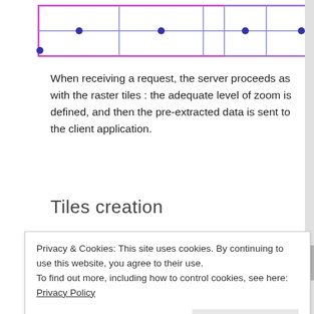[Figure (schematic): Partial diagram showing pink/magenta bordered rectangles with blue dots and lines indicating data structure or grid layout — top portion of a larger figure]
When receiving a request, the server proceeds as with the raster tiles : the adequate level of zoom is defined, and then the pre-extracted data is sent to the client application.
Tiles creation
The tiles creation process is the same whether they are
Privacy & Cookies: This site uses cookies. By continuing to use this website, you agree to their use.
To find out more, including how to control cookies, see here: Privacy Policy
Close and accept